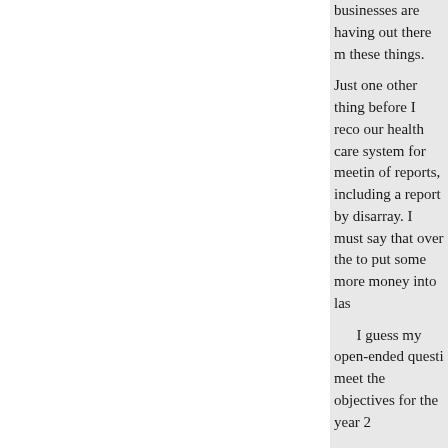businesses are having out there meeting these things.
Just one other thing before I recommend our health care system for meeting of reports, including a report by disarray. I must say that over the to put some more money into las
I guess my open-ended question meet the objectives for the year 2
Dr. MASON. We share your concern they were in disarray but they sa that they have gotten at every lev
We have taken on as one of our m departments and do everything w leadership. We are working with the field of public health. Salarie and the brightest. We need to see
Many of the programs that are ca directly to State and local public Public Health Service for streng
Each quarter I meet with the offi county officials, and the U.S. C